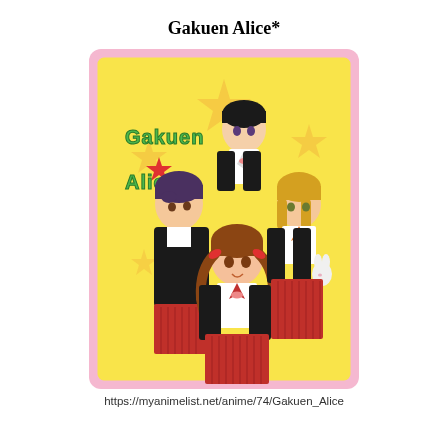Gakuen Alice*
[Figure (illustration): Anime promotional artwork for Gakuen Alice showing four anime characters in school uniforms against a yellow star background with pink border. The title 'Gakuen Alice' with a red star is displayed in the upper left. Characters wear black blazers and red skirts.]
https://myanimelist.net/anime/74/Gakuen_Alice